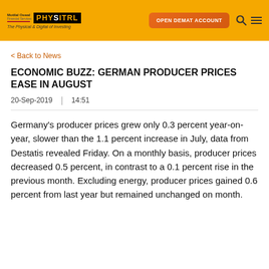[Figure (logo): Motilal Oswal Physitrl logo with tagline 'The Physical & Digital of Investing' on orange header bar with 'OPEN DEMAT ACCOUNT' button and search/menu icons]
< Back to News
ECONOMIC BUZZ: GERMAN PRODUCER PRICES EASE IN AUGUST
20-Sep-2019  |  14:51
Germany's producer prices grew only 0.3 percent year-on-year, slower than the 1.1 percent increase in July, data from Destatis revealed Friday. On a monthly basis, producer prices decreased 0.5 percent, in contrast to a 0.1 percent rise in the previous month. Excluding energy, producer prices gained 0.6 percent from last year but remained unchanged on month.